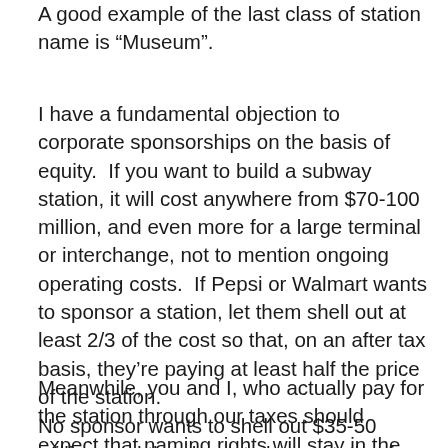A good example of the last class of station name is “Museum”.
I have a fundamental objection to corporate sponsorships on the basis of equity.  If you want to build a subway station, it will cost anywhere from $70-100 million, and even more for a large terminal or interchange, not to mention ongoing operating costs.  If Pepsi or Walmart wants to sponsor a station, let them shell out at least 2/3 of the cost so that, on an after tax basis, they’re paying at least half the price of the station.
Meanwhile, you and I, who actually pay for the station through our taxes should expect that naming rights will stay in the public sector.
No sponsor wants to shell out $35-50 million, and they hope to buy a station for a few million.  For that they get a